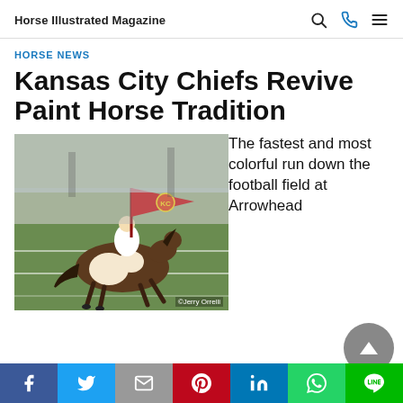Horse Illustrated Magazine
HORSE NEWS
Kansas City Chiefs Revive Paint Horse Tradition
[Figure (photo): A rider on a paint horse galloping across a football field at Arrowhead Stadium, carrying a large red Kansas City Chiefs flag. Photo credit: ©Jerry Orrelli]
The fastest and most colorful run down the football field at Arrowhead